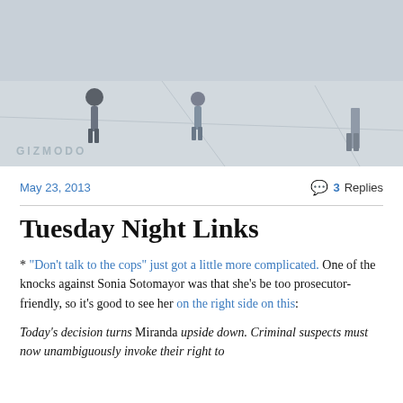[Figure (photo): Aerial or ground-level photo of people on a concrete surface, with a Gizmodo watermark in the bottom left corner]
May 23, 2013
3 Replies
Tuesday Night Links
* “Don’t talk to the cops” just got a little more complicated. One of the knocks against Sonia Sotomayor was that she’s be too prosecutor-friendly, so it’s good to see her on the right side on this:
Today’s decision turns Miranda upside down. Criminal suspects must now unambiguously invoke their right to